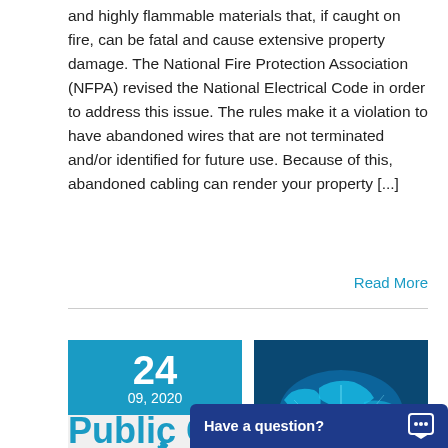and highly flammable materials that, if caught on fire, can be fatal and cause extensive property damage. The National Fire Protection Association (NFPA) revised the National Electrical Code in order to address this issue. The rules make it a violation to have abandoned wires that are not terminated and/or identified for future use. Because of this, abandoned cabling can render your property [...]
Read More
[Figure (other): Date block showing 24 / 09, 2020 in blue box with pen icon below on grey background]
[Figure (photo): Person holding glowing blue holographic world map/globe display]
Public C
Have a question?